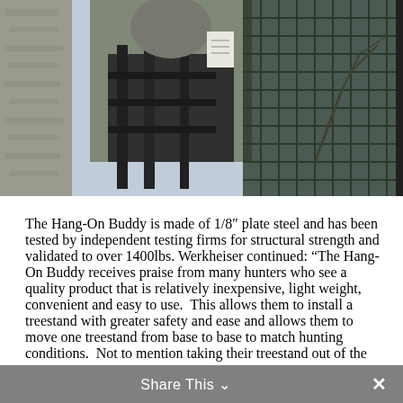[Figure (photo): Outdoor photograph showing a person near a tree with a treestand device, netting or mesh visible, and trees in background]
The Hang-On Buddy is made of 1/8" plate steel and has been tested by independent testing firms for structural strength and validated to over 1400lbs. Werkheiser continued: “The Hang-On Buddy receives praise from many hunters who see a quality product that is relatively inexpensive, light weight, convenient and easy to use.  This allows them to install a treestand with greater safety and ease and allows them to move one treestand from base to base to match hunting conditions.  Not to mention taking their treestand out of the woods with them and preventing theft.”
Share This ∨